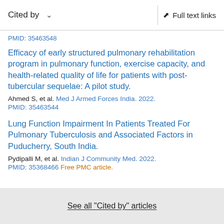Cited by   Full text links
PMID: 35463548
Efficacy of early structured pulmonary rehabilitation program in pulmonary function, exercise capacity, and health-related quality of life for patients with post-tubercular sequelae: A pilot study.
Ahmed S, et al. Med J Armed Forces India. 2022.
PMID: 35463544
Lung Function Impairment In Patients Treated For Pulmonary Tuberculosis and Associated Factors in Puducherry, South India.
Pydipalli M, et al. Indian J Community Med. 2022.
PMID: 35368466 Free PMC article.
See all "Cited by" articles